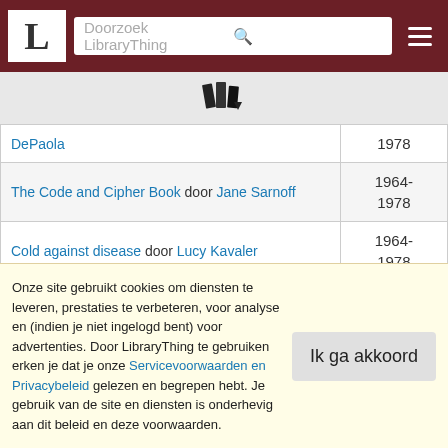Doorzoek LibraryThing
| Boek | Jaar |
| --- | --- |
| DePaola | 1978 |
| The Code and Cipher Book door Jane Sarnoff | 1964-1978 |
| Cold against disease door Lucy Kavaler | 1964-1978 |
| Collage and construction door Harvey Weiss | 1964-1978 |
| [partial row] | 1964- |
Onze site gebruikt cookies om diensten te leveren, prestaties te verbeteren, voor analyse en (indien je niet ingelogd bent) voor advertenties. Door LibraryThing te gebruiken erken je dat je onze Servicevoorwaarden en Privacybeleid gelezen en begrepen hebt. Je gebruik van de site en diensten is onderhevig aan dit beleid en deze voorwaarden.